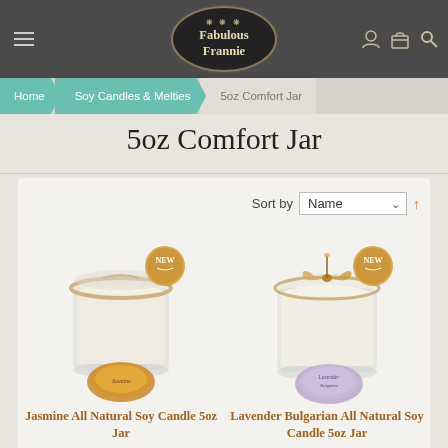[Figure (logo): Fabulous Frannie logo in dark oval with crown decoration]
Home > Soy Candles & Melties > 5oz Comfort Jar
5oz Comfort Jar
Sort by Name ↑
[Figure (photo): Jasmine All Natural Soy Candle 5oz Jar - glass jar candle with twine bow and NEW badge]
Jasmine All Natural Soy Candle 5oz Jar
$7.95
[Figure (photo): Lavender Bulgarian All Natural Soy Candle 5oz Jar - glass jar candle with raffia bow and NEW badge]
Lavender Bulgarian All Natural Soy Candle 5oz Jar
$7.95